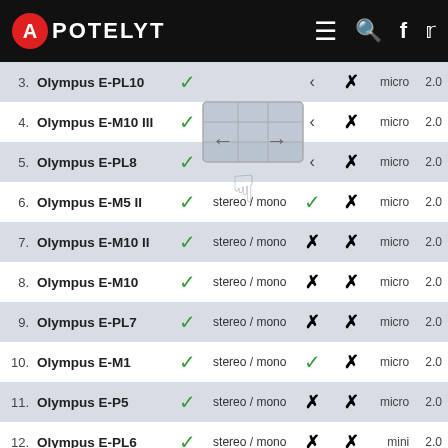APOTELYT
| # | Camera | Video | Audio | Ext.Mic | Headphones | Mount | USB |
| --- | --- | --- | --- | --- | --- | --- | --- |
| 3. | Olympus E-PL10 | ✓ |  | ‹ | ✗ | micro | 2.0 |
| 4. | Olympus E-M10 III | ✓ |  | ‹ | ✗ | micro | 2.0 |
| 5. | Olympus E-PL8 | ✓ |  | ‹ | ✗ | micro | 2.0 |
| 6. | Olympus E-M5 II | ✓ | stereo / mono | ✓ | ✗ | micro | 2.0 |
| 7. | Olympus E-M10 II | ✓ | stereo / mono | ✗ | ✗ | micro | 2.0 |
| 8. | Olympus E-M10 | ✓ | stereo / mono | ✗ | ✗ | micro | 2.0 |
| 9. | Olympus E-PL7 | ✓ | stereo / mono | ✗ | ✗ | micro | 2.0 |
| 10. | Olympus E-M1 | ✓ | stereo / mono | ✓ | ✗ | micro | 2.0 |
| 11. | Olympus E-P5 | ✓ | stereo / mono | ✗ | ✗ | micro | 2.0 |
| 12. | Olympus E-PL6 | ✓ | stereo / mono | ✗ | ✗ | mini | 2.0 |
| 13. | Olympus E-PL5 | ✓ | stereo / mono | ✗ | ✗ | mini | 2.0 |
| 14. | Olympus E-PM2 | ✓ | stereo / mono | ✗ | ✗ | mini | 2.0 |